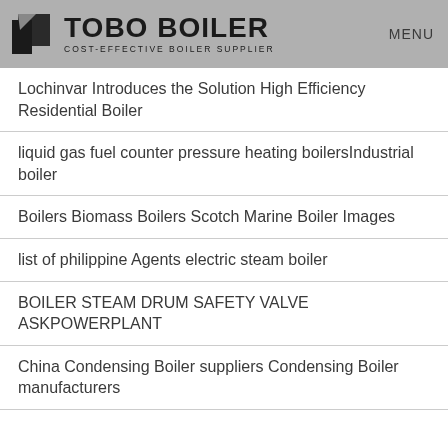TOBO BOILER COST-EFFECTIVE BOILER SUPPLIER | MENU
Lochinvar Introduces the Solution High Efficiency Residential Boiler
liquid gas fuel counter pressure heating boilersIndustrial boiler
Boilers Biomass Boilers Scotch Marine Boiler Images
list of philippine Agents electric steam boiler
BOILER STEAM DRUM SAFETY VALVE ASKPOWERPLANT
China Condensing Boiler suppliers Condensing Boiler manufacturers